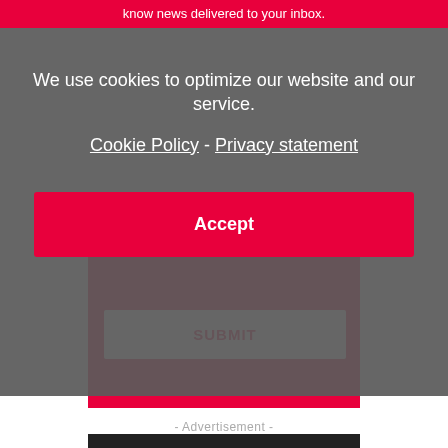know news delivered to your inbox.
We use cookies to optimize our website and our service.
Cookie Policy - Privacy statement
Accept
SUBMIT
- Advertisement -